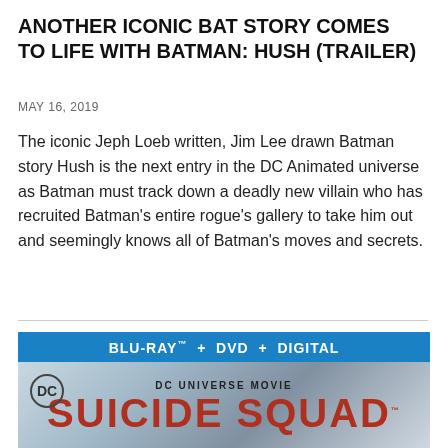ANOTHER ICONIC BAT STORY COMES TO LIFE WITH BATMAN: HUSH (TRAILER)
MAY 16, 2019
The iconic Jeph Loeb written, Jim Lee drawn Batman story Hush is the next entry in the DC Animated universe as Batman must track down a deadly new villain who has recruited Batman's entire rogue's gallery to take him out and seemingly knows all of Batman's moves and secrets.
[Figure (photo): Suicide Squad DC Universe Movie Blu-ray + DVD + Digital cover image showing the DC logo, the text 'DC UNIVERSE MOVIE' and 'SUICIDE SQUAD' in large red letters]